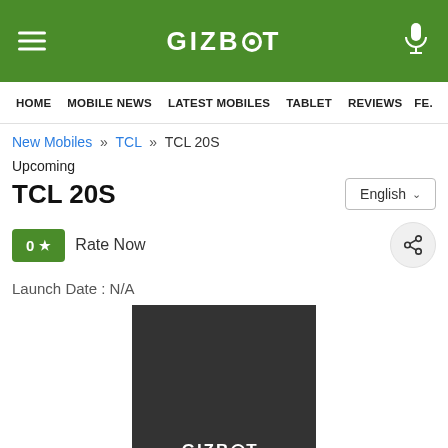GIZBOT
HOME  MOBILE NEWS  LATEST MOBILES  TABLET  REVIEWS  FE...
New Mobiles » TCL » TCL 20S
Upcoming
TCL 20S
English
0 ★  Rate Now
Launch Date : N/A
[Figure (logo): Dark background placeholder with GIZBOT logo text in white at the bottom]